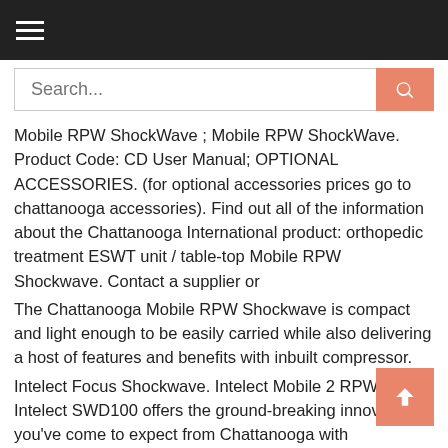Navigation header with hamburger menu and search bar
Mobile RPW ShockWave ; Mobile RPW ShockWave. Product Code: CD User Manual; OPTIONAL ACCESSORIES. (for optional accessories prices go to chattanooga accessories). Find out all of the information about the Chattanooga International product: orthopedic treatment ESWT unit / table-top Mobile RPW Shockwave. Contact a supplier or
The Chattanooga Mobile RPW Shockwave is compact and light enough to be easily carried while also delivering a host of features and benefits with inbuilt compressor.
Intelect Focus Shockwave. Intelect Mobile 2 RPW. The Intelect SWD100 offers the ground-breaking innovations you've come to expect from Chattanooga with
Mobile Radial Pressure Wave Shockwave Unit the Chattanooga Mobile RPW is the ideal choice. Operating